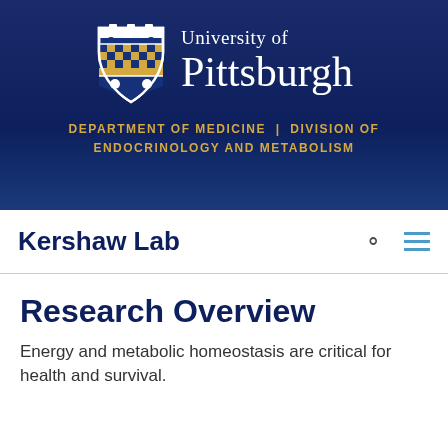[Figure (logo): University of Pittsburgh shield logo with blue and gold checkered pattern and three white dots on top and bottom, next to text 'University of Pittsburgh' in white serif font on dark navy blue banner background]
DEPARTMENT OF MEDICINE | DIVISION OF ENDOCRINOLOGY AND METABOLISM
Kershaw Lab
Research Overview
Energy and metabolic homeostasis are critical for health and survival.